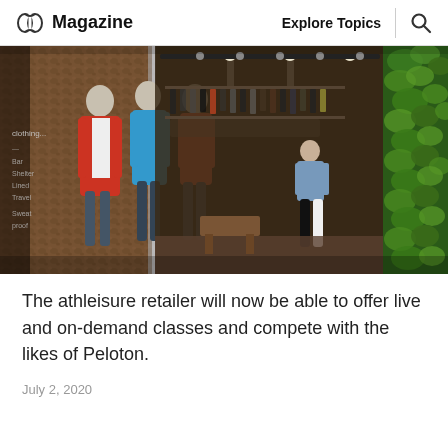Magazine  Explore Topics
[Figure (photo): Exterior view of an athleisure retail store showing mannequins dressed in athletic wear in a window display with a cork wall background, an open store interior with hanging clothes, and a green living plant wall on the right side.]
The athleisure retailer will now be able to offer live and on-demand classes and compete with the likes of Peloton.
July 2, 2020